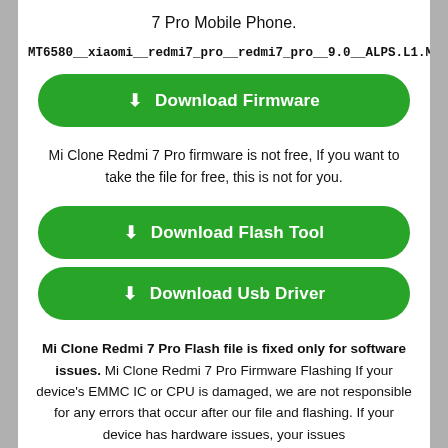7 Pro Mobile Phone.
MT6580__xiaomi__redmi7_pro__redmi7_pro__9.0__ALPS.L1.MP6.V2_WI
[Figure (other): Green download firmware button]
Mi Clone Redmi 7 Pro firmware is not free, If you want to take the file for free, this is not for you.
[Figure (other): Green download flash tool button]
[Figure (other): Green download usb driver button]
Mi Clone Redmi 7 Pro Flash file is fixed only for software issues. Mi Clone Redmi 7 Pro Firmware Flashing If your device's EMMC IC or CPU is damaged, we are not responsible for any errors that occur after our file and flashing. If your device has hardware issues, your issues